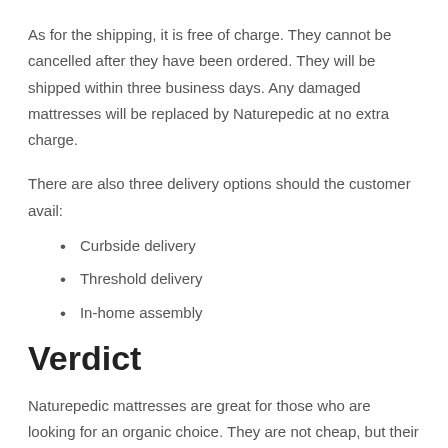As for the shipping, it is free of charge. They cannot be cancelled after they have been ordered. They will be shipped within three business days. Any damaged mattresses will be replaced by Naturepedic at no extra charge.
There are also three delivery options should the customer avail:
Curbside delivery
Threshold delivery
In-home assembly
Verdict
Naturepedic mattresses are great for those who are looking for an organic choice. They are not cheap, but their chemical-free and customizable options make them worth it.
The great aspect about Naturepedic is it works for the whole